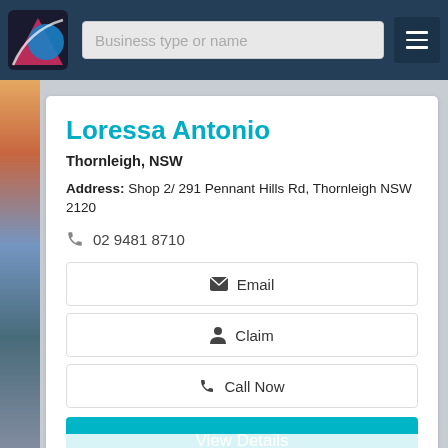Business type or name
Loressa Antonio
Thornleigh, NSW
Address: Shop 2/ 291 Pennant Hills Rd, Thornleigh NSW 2120
02 9481 8710
Email
Claim
Call Now
View Details